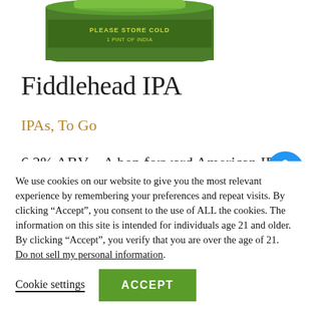[Figure (illustration): Top portion of a green beer can with 'PLEASE STORE COLD' text and '1 PINT OF INDIA' visible on the label]
Fiddlehead IPA
IPAs, To Go
6.2% ABV – A hop forward American IPA with mellow bitterness. Citrusy and Dank. Well Balanced and positive for everyone.
We use cookies on our website to give you the most relevant experience by remembering your preferences and repeat visits. By clicking “Accept”, you consent to the use of ALL the cookies. The information on this site is intended for individuals age 21 and older. By clicking “Accept”, you verify that you are over the age of 21.
Do not sell my personal information.
Cookie settings
ACCEPT